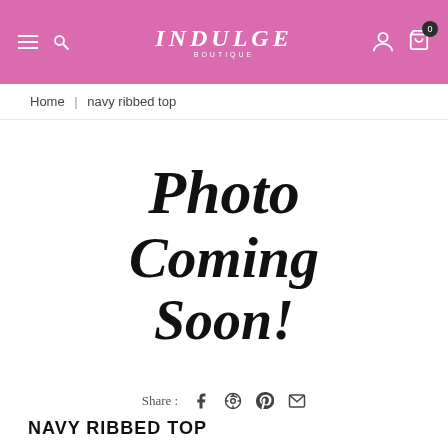INDULGE BOUTIQUE - navigation header with hamburger menu, search, account, and cart (0 items)
Home | navy ribbed top
[Figure (illustration): Photo Coming Soon! placeholder image in cursive/script bold font on white background]
Share : (Facebook) (Pinterest) (Email)
NAVY RIBBED TOP